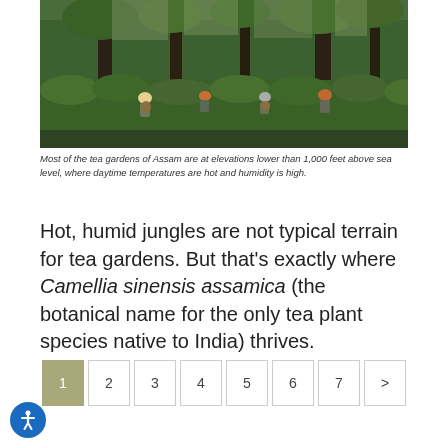[Figure (photo): Tea garden in Assam, India. Workers picking tea amid lush green bushes and tall trees. Dense jungle-like vegetation with multiple people visible harvesting tea leaves.]
Most of the tea gardens of Assam are at elevations lower than 1,000 feet above sea level, where daytime temperatures are hot and humidity is high.
Hot, humid jungles are not typical terrain for tea gardens. But that's exactly where Camellia sinensis assamica (the botanical name for the only tea plant species native to India) thrives.